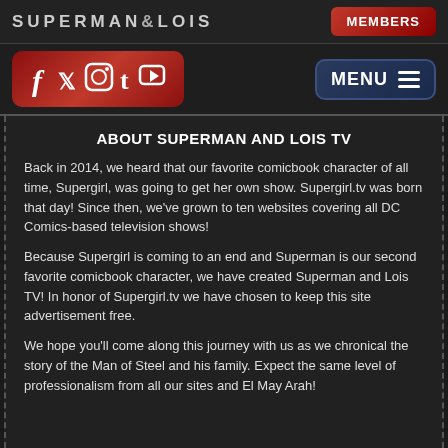SUPERMAN & LOIS
[Figure (logo): Social media icons bar with Facebook, Twitter, Instagram, Tumblr, YouTube icons on red gradient background, and MENU button on dark blue background]
ABOUT SUPERMAN AND LOIS TV
Back in 2014, we heard that our favorite comicbook character of all time, Supergirl, was going to get her own show. Supergirl.tv was born that day! Since then, we've grown to ten websites covering all DC Comics-based television shows!
Because Supergirl is coming to an end and Superman is our second favorite comicbook character, we have created Superman and Lois TV! In honor of Supergirl.tv we have chosen to keep this site advertisement free.
We hope you'll come along this journey with us as we chronical the story of the Man of Steel and his family. Expect the same level of professionalism from all our sites and El May Arah!